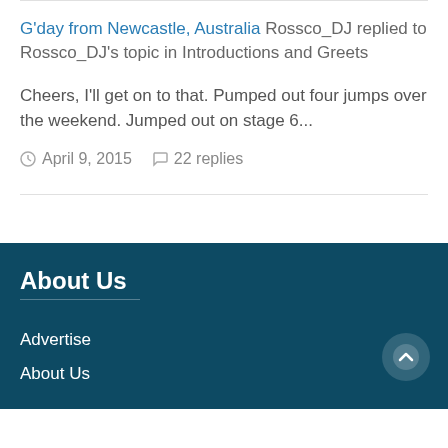G'day from Newcastle, Australia Rossco_DJ replied to Rossco_DJ's topic in Introductions and Greets
Cheers, I'll get on to that. Pumped out four jumps over the weekend. Jumped out on stage 6...
April 9, 2015   22 replies
About Us
Advertise
About Us